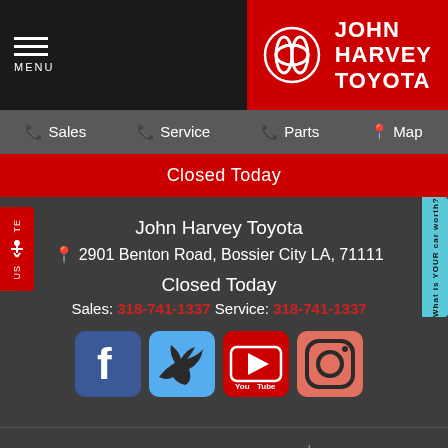MENU | JOHN HARVEY TOYOTA
Sales | Service | Parts | Map
Closed Today
John Harvey Toyota
2901 Benton Road, Bossier City LA, 71111
Closed Today
Sales: 318-741-1337 Service: 318-741-1337
[Figure (logo): Social media icons: Facebook, Twitter, YouTube, Instagram]
ADA Accessibility Statement | Safety Recalls & Service Campaigns | Privacy Policy | Disclaimer | Sitemap